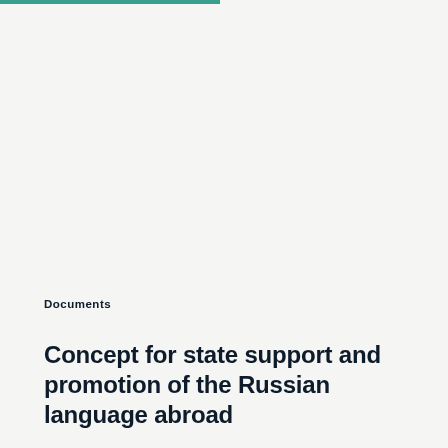Documents
Concept for state support and promotion of the Russian language abroad